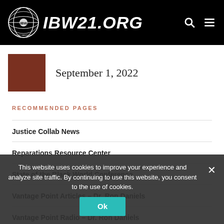IBW21.ORG
September 1, 2022
RECOMMENDED PAGES
Justice Collab News
Reparations Resource Center
State of the Black World Conference
Vantage Point Articles - Dr. Ron Daniels
Vantage Point Radio - Dr. Ron Daniels
Newark As Model City Initiative
This website uses cookies to improve your experience and analyze site traffic. By continuing to use this website, you consent to the use of cookies.